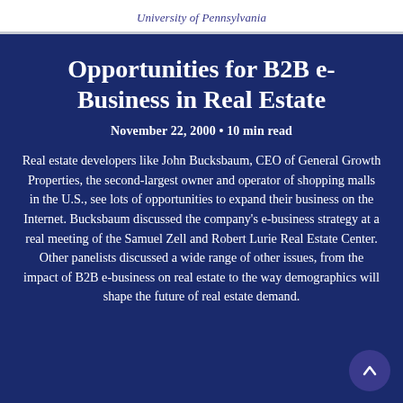University of Pennsylvania
Opportunities for B2B e-Business in Real Estate
November 22, 2000 • 10 min read
Real estate developers like John Bucksbaum, CEO of General Growth Properties, the second-largest owner and operator of shopping malls in the U.S., see lots of opportunities to expand their business on the Internet. Bucksbaum discussed the company's e-business strategy at a real meeting of the Samuel Zell and Robert Lurie Real Estate Center. Other panelists discussed a wide range of other issues, from the impact of B2B e-business on real estate to the way demographics will shape the future of real estate demand.